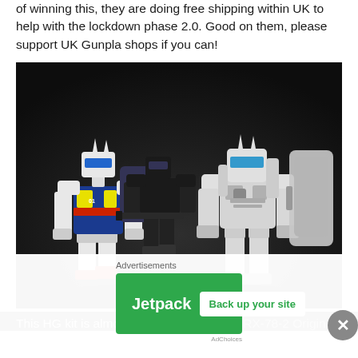of winning this, they are doing free shipping within UK to help with the lockdown phase 2.0. Good on them, please support UK Gunpla shops if you can!
[Figure (photo): Two Gundam HG model kits posed side by side against a dark background. Left figure is colorful with blue, yellow and red markings. Right figure is predominantly white and grey.]
This HG kit is almost similar height to my RX-78-2 Origin
Advertisements
[Figure (logo): Jetpack advertisement banner with green background, Jetpack logo and lightning bolt icon, and a 'Back up your site' button]